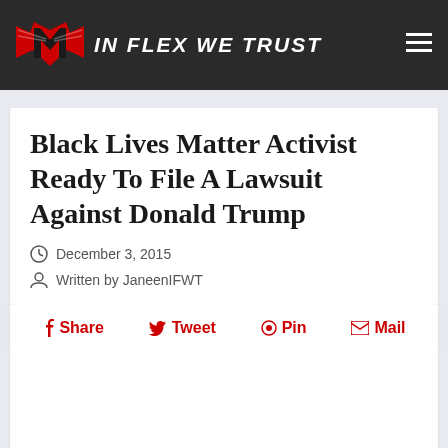IN FLEX WE TRUST
Black Lives Matter Activist Ready To File A Lawsuit Against Donald Trump
December 3, 2015
Written by JaneenIFWT
Share  Tweet  Pin  Mail